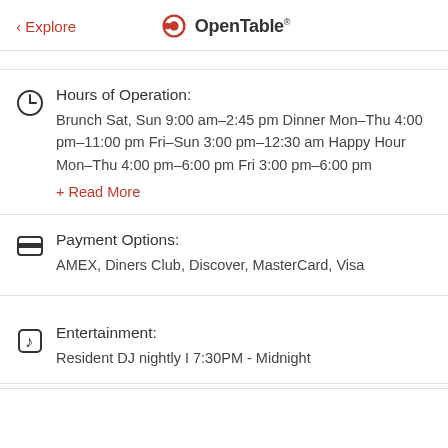< Explore | OpenTable
Hours of Operation: Brunch Sat, Sun 9:00 am–2:45 pm Dinner Mon–Thu 4:00 pm–11:00 pm Fri–Sun 3:00 pm–12:30 am Happy Hour Mon–Thu 4:00 pm–6:00 pm Fri 3:00 pm–6:00 pm
+ Read More
Payment Options: AMEX, Diners Club, Discover, MasterCard, Visa
Entertainment: Resident DJ nightly I 7:30PM - Midnight